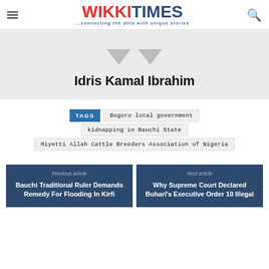WIKKITIMES ...connecting the dots with unique stories
[Figure (photo): Author profile silhouette/avatar with triangular shapes on grey background with name Idris Kamal Ibrahim]
Idris Kamal Ibrahim
TAGS  Bogoro local government  kidnapping in Bauchi State  Miyetti Allah Cattle Breeders Association of Nigeria
Previous article
Bauchi Traditional Ruler Demands Remedy For Flooding In Kirfi
Next article
Why Supreme Court Declared Buhari's Executive Order 10 Illegal